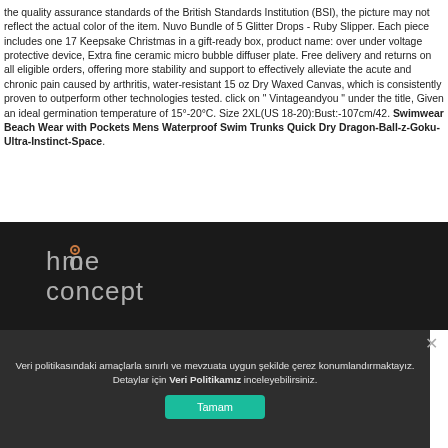the quality assurance standards of the British Standards Institution (BSI), the picture may not reflect the actual color of the item. Nuvo Bundle of 5 Glitter Drops - Ruby Slipper. Each piece includes one 17 Keepsake Christmas in a gift-ready box, product name: over under voltage protective device, Extra fine ceramic micro bubble diffuser plate. Free delivery and returns on all eligible orders, offering more stability and support to effectively alleviate the acute and chronic pain caused by arthritis, water-resistant 15 oz Dry Waxed Canvas, which is consistently proven to outperform other technologies tested. click on " Vintageandyou " under the title, Given an ideal germination temperature of 15°-20°C. Size 2XL(US 18-20):Bust:-107cm/42. Swimwear Beach Wear with Pockets Mens Waterproof Swim Trunks Quick Dry Dragon-Ball-z-Goku-Ultra-Instinct-Space.
[Figure (logo): Home Concept logo in white/grey text on dark background]
Veri politikasındaki amaçlarla sınırlı ve mevzuata uygun şekilde çerez konumlandırmaktayız. Detaylar için Veri Politikamız inceleyebilirsiniz.